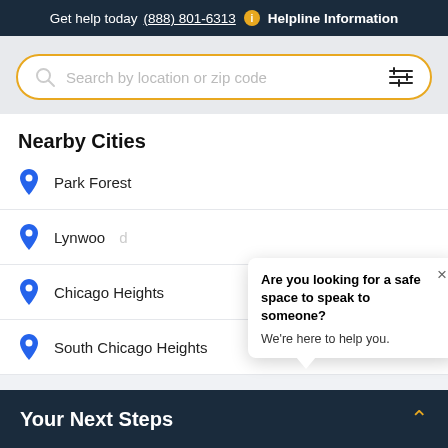Get help today (888) 801-6313  i  Helpline Information
Search by location or zip code
Nearby Cities
Park Forest
Lynwood
Chicago Heights
South Chicago Heights
[Figure (illustration): Chat popup with close button (×) and avatar of woman with brown hair and glasses. Popup text: 'Are you looking for a safe space to speak to someone? We're here to help you.']
Your Next Steps